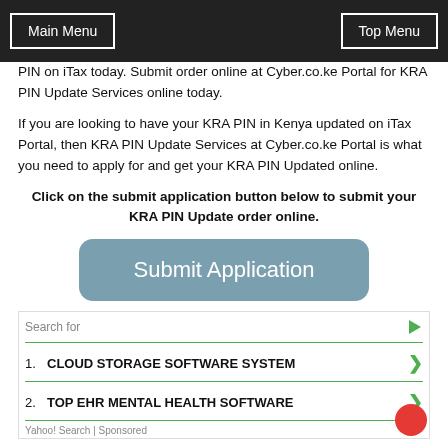Main Menu | Top Menu
PIN on iTax today. Submit order online at Cyber.co.ke Portal for KRA PIN Update Services online today.
If you are looking to have your KRA PIN in Kenya updated on iTax Portal, then KRA PIN Update Services at Cyber.co.ke Portal is what you need to apply for and get your KRA PIN Updated online.
Click on the submit application button below to submit your KRA PIN Update order online.
[Figure (other): Submit Application button — a large rounded teal/grey button with white text reading 'Submit Application']
[Figure (other): Yahoo! Search sponsored ad unit with two items: 1. CLOUD STORAGE SOFTWARE SYSTEM, 2. TOP EHR MENTAL HEALTH SOFTWARE]